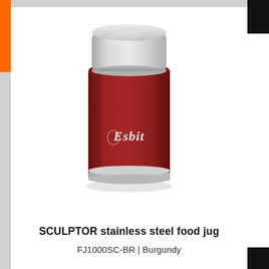[Figure (photo): Burgundy red Esbit SCULPTOR stainless steel food jug with silver/chrome lid and base. The cylindrical container has a matte burgundy finish with the Esbit logo in white script on the front. The lid is silver/chrome colored and rounded on top.]
SCULPTOR stainless steel food jug
FJ1000SC-BR | Burgundy